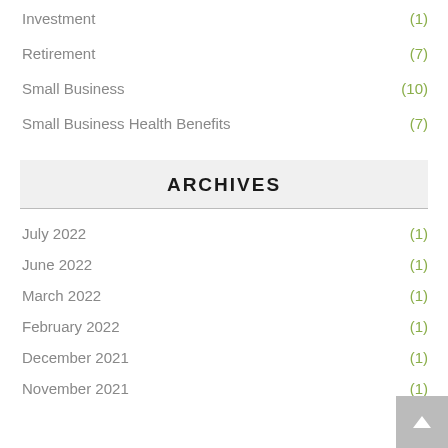Investment (1)
Retirement (7)
Small Business (10)
Small Business Health Benefits (7)
ARCHIVES
July 2022 (1)
June 2022 (1)
March 2022 (1)
February 2022 (1)
December 2021 (1)
November 2021 (1)